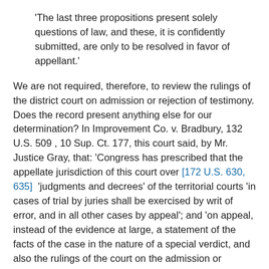'The last three propositions present solely questions of law, and these, it is confidently submitted, are only to be resolved in favor of appellant.'
We are not required, therefore, to review the rulings of the district court on admission or rejection of testimony. Does the record present anything else for our determination? In Improvement Co. v. Bradbury, 132 U.S. 509 , 10 Sup. Ct. 177, this court said, by Mr. Justice Gray, that: 'Congress has prescribed that the appellate jurisdiction of this court over [172 U.S. 630, 635]  'judgments and decrees' of the territorial courts 'in cases of trial by juries shall be exercised by writ of error, and in all other cases by appeal'; and 'on appeal, instead of the evidence at large, a statement of the facts of the case in the nature of a special verdict, and also the rulings of the court on the admission or rejection of evidence when excepted to, shall be made and certified to by the court below' and transmitted to this court with the transcript of the